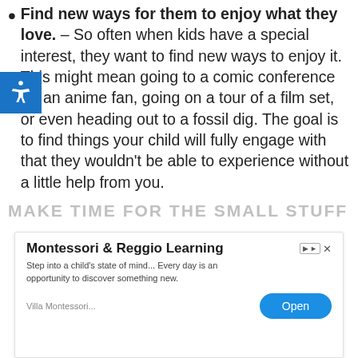Find new ways for them to enjoy what they love. – So often when kids have a special interest, they want to find new ways to enjoy it. This might mean going to a comic conference for an anime fan, going on a tour of a film set, or even heading out to a fossil dig. The goal is to find things your child will fully engage with that they wouldn't be able to experience without a little help from you.
MAKE TIME FOR THE SMALL STUFF
[Figure (screenshot): Advertisement banner for Montessori & Reggio Learning. Title: 'Montessori & Reggio Learning'. Body: 'Step into a child's state of mind... Every day is an opportunity to discover something new.' Source: 'Villa Montessori...' with an 'Open' button.]